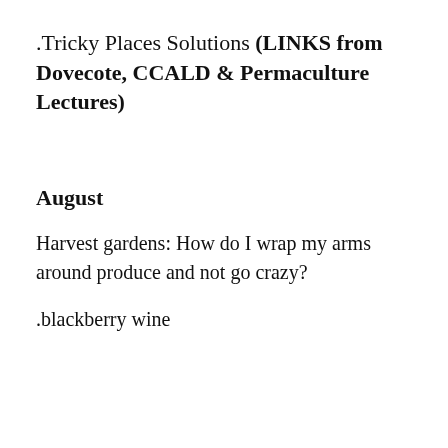.Tricky Places Solutions (LINKS from Dovecote, CCALD & Permaculture Lectures)
August
Harvest gardens: How do I wrap my arms around produce and not go crazy?
.blackberry wine